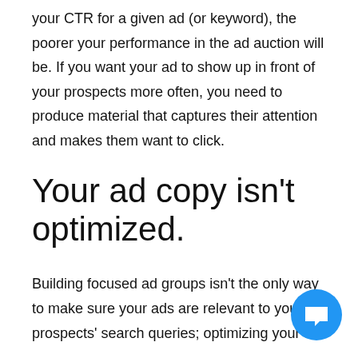your CTR for a given ad (or keyword), the poorer your performance in the ad auction will be. If you want your ad to show up in front of your prospects more often, you need to produce material that captures their attention and makes them want to click.
Your ad copy isn't optimized.
Building focused ad groups isn't the only way to make sure your ads are relevant to your prospects' search queries; optimizing your ad